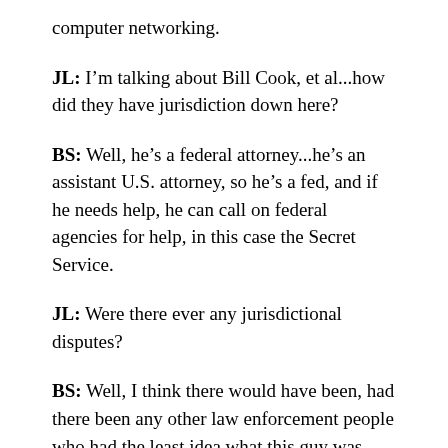computer networking.
JL: I'm talking about Bill Cook, et al...how did they have jurisdiction down here?
BS: Well, he's a federal attorney...he's an assistant U.S. attorney, so he's a fed, and if he needs help, he can call on federal agencies for help, in this case the Secret Service.
JL: Were there ever any jurisdictional disputes?
BS: Well, I think there would have been, had there been any other law enforcement people who had the least idea what this guy was doing, but most police are basically clueless about